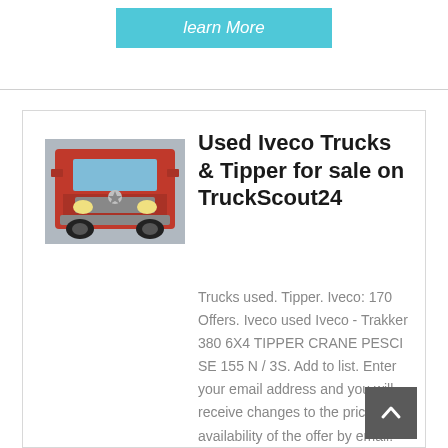[Figure (other): Learn More button in cyan/teal color at top of page]
[Figure (photo): Red heavy-duty truck (Iveco/HOWO style) front view thumbnail image]
Used Iveco Trucks & Tipper for sale on TruckScout24
Trucks used. Tipper. Iveco: 170 Offers. Iveco used Iveco - Trakker 380 6X4 TIPPER CRANE PESCI SE 155 N / 3S. Add to list. Enter your email address and you will receive changes to the price or availability of the offer by email. Your e-mail address. Please enter a valid e-mail address.